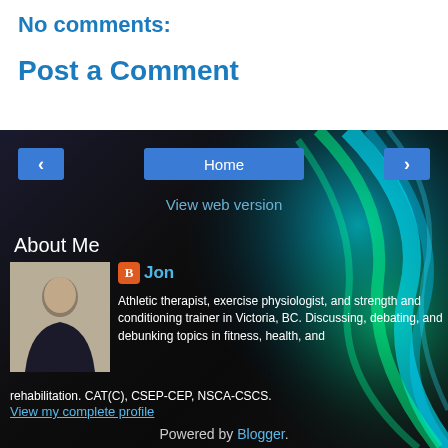No comments:
Post a Comment
[Figure (screenshot): Dark background with blue and green swirl light effects]
Home
View web version
About Me
[Figure (photo): Profile photo of Jon, a man in dark shirt with arms crossed]
Jon
Athletic therapist, exercise physiologist, and strength and conditioning trainer in Victoria, BC. Discussing, debating, and debunking topics in fitness, health, and rehabilitation. CAT(C), CSEP-CEP, NSCA-CSCS.
View my complete profile
Powered by Blogger.